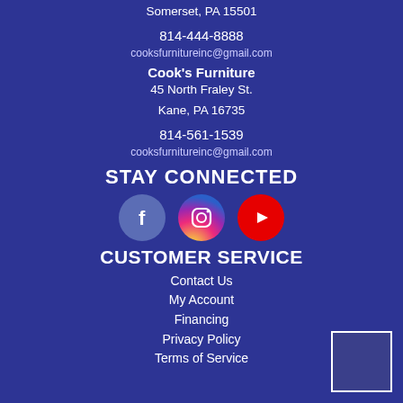Somerset, PA 15501
814-444-8888
cooksfurnitureinc@gmail.com
Cook's Furniture
45 North Fraley St.
Kane, PA 16735
814-561-1539
cooksfurnitureinc@gmail.com
STAY CONNECTED
[Figure (illustration): Social media icons: Facebook (blue circle with f), Instagram (gradient circle with camera outline), YouTube (red circle with play button)]
CUSTOMER SERVICE
Contact Us
My Account
Financing
Privacy Policy
Terms of Service